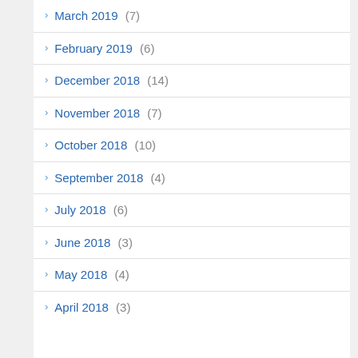> March 2019 (7)
> February 2019 (6)
> December 2018 (14)
> November 2018 (7)
> October 2018 (10)
> September 2018 (4)
> July 2018 (6)
> June 2018 (3)
> May 2018 (4)
> April 2018 (3)